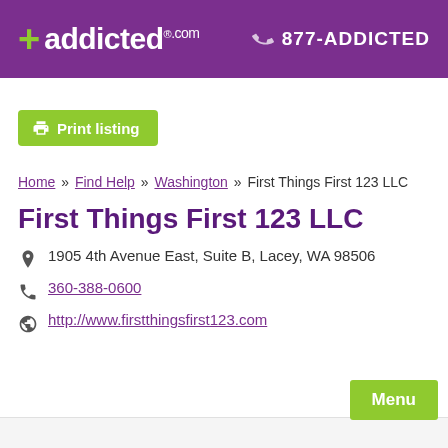[Figure (logo): addicted.com logo with green plus sign on purple header background, with phone number 877-ADDICTED]
Print listing
Home » Find Help » Washington » First Things First 123 LLC
First Things First 123 LLC
1905 4th Avenue East, Suite B, Lacey, WA 98506
360-388-0600
http://www.firstthingsfirst123.com